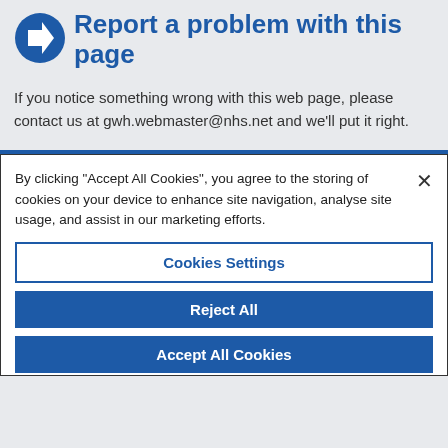Report a problem with this page
If you notice something wrong with this web page, please contact us at gwh.webmaster@nhs.net and we'll put it right.
By clicking “Accept All Cookies”, you agree to the storing of cookies on your device to enhance site navigation, analyse site usage, and assist in our marketing efforts.
Cookies Settings
Reject All
Accept All Cookies